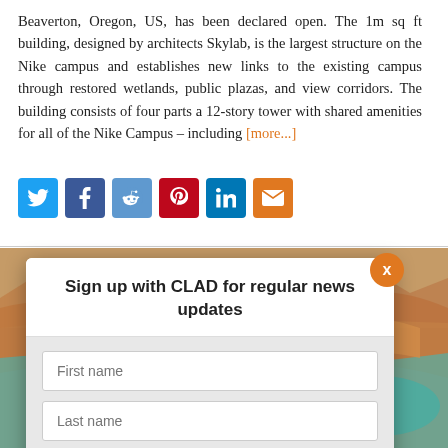Beaverton, Oregon, US, has been declared open. The 1m sq ft building, designed by architects Skylab, is the largest structure on the Nike campus and establishes new links to the existing campus through restored wetlands, public plazas, and view corridors. The building consists of four parts a 12-story tower with shared amenities for all of the Nike Campus – including [more...]
[Figure (screenshot): Social sharing buttons: Twitter (blue), Facebook (dark blue), Reddit (light blue), Pinterest (red), LinkedIn (blue), Email (orange)]
[Figure (photo): Aerial landscape photo showing desert/coastal terrain with water, used as modal background]
Sign up with CLAD for regular news updates
First name
Last name
Email
SIGN UP